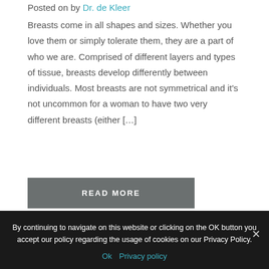Posted on by Dr. de Kleer
Breasts come in all shapes and sizes. Whether you love them or simply tolerate them, they are a part of who we are. Comprised of different layers and types of tissue, breasts develop differently between individuals. Most breasts are not symmetrical and it's not uncommon for a woman to have two very different breasts (either […]
READ MORE
By continuing to navigate on this website or clicking on the OK button you accept our policy regarding the usage of cookies on our Privacy Policy.
Ok   Privacy policy